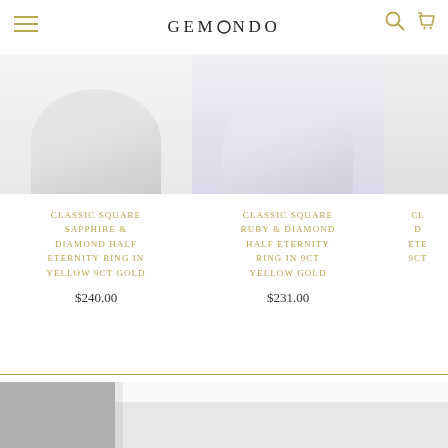GEMONDO
CLASSIC SQUARE SAPPHIRE & DIAMOND HALF ETERNITY RING IN YELLOW 9CT GOLD
$240.00
CLASSIC SQUARE RUBY & DIAMOND HALF ETERNITY RING IN 9CT YELLOW GOLD
$231.00
CL... D... ETE... 9CT...
[Figure (photo): White jewelry box, partially open, photographed at an angle against a white background with a gray shadow on the left side.]